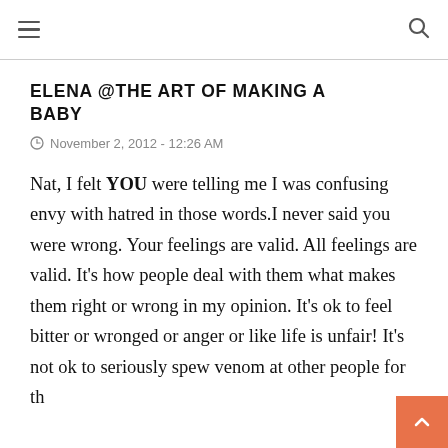≡  🔍
ELENA @THE ART OF MAKING A BABY
November 2, 2012 - 12:26 AM
Nat, I felt YOU were telling me I was confusing envy with hatred in those words.I never said you were wrong. Your feelings are valid. All feelings are valid. It's how people deal with them what makes them right or wrong in my opinion. It's ok to feel bitter or wronged or anger or like life is unfair! It's not ok to seriously spew venom at other people for th